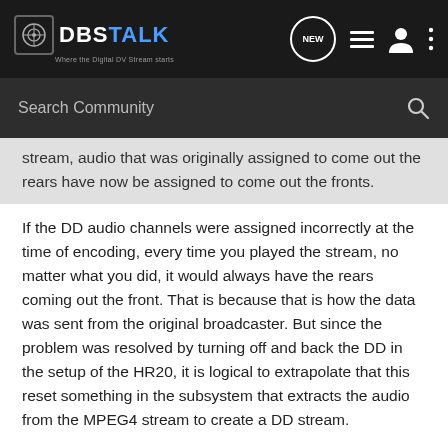DBSTALK — Where the Digital DV Stream starts
stream, audio that was originally assigned to come out the rears have now be assigned to come out the fronts.
If the DD audio channels were assigned incorrectly at the time of encoding, every time you played the stream, no matter what you did, it would always have the rears coming out the front. That is because that is how the data was sent from the original broadcaster. But since the problem was resolved by turning off and back the DD in the setup of the HR20, it is logical to extrapolate that this reset something in the subsystem that extracts the audio from the MPEG4 stream to create a DD stream.
I am not saying that what ever D* is doing to create the MPEG4 streams in the first place might be making it harder for the decoder and code in the HR20 de deal with DD streams in a